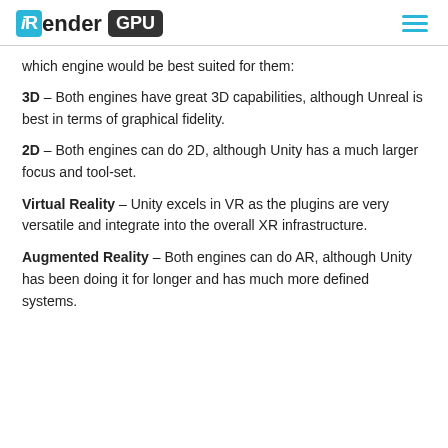iRender GPU
which engine would be best suited for them:
3D – Both engines have great 3D capabilities, although Unreal is best in terms of graphical fidelity.
2D – Both engines can do 2D, although Unity has a much larger focus and tool-set.
Virtual Reality – Unity excels in VR as the plugins are very versatile and integrate into the overall XR infrastructure.
Augmented Reality – Both engines can do AR, although Unity has been doing it for longer and has much more defined systems.